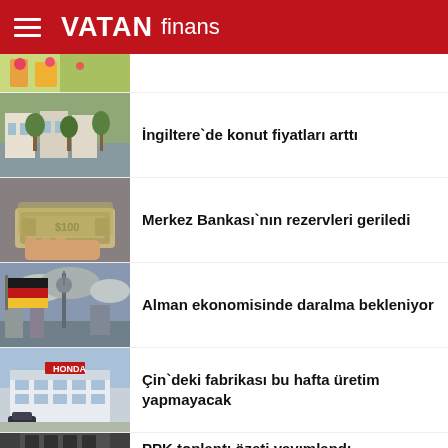VATAN finans
[Figure (photo): Partial news thumbnail at top (flowers/colorful scene)]
[Figure (photo): Street with houses and trees in UK]
İngiltere`de konut fiyatları arttı
[Figure (photo): Hand holding US dollar bills]
Merkez Bankası`nın rezervleri geriledi
[Figure (photo): German flag with cityscape and TV tower]
Alman ekonomisinde daralma bekleniyor
[Figure (photo): Honda factory building in China]
Çin`deki fabrikası bu hafta üretim yapmayacak
[Figure (photo): Partial TCMB (Turkish Central Bank) building thumbnail]
PPK toplantı özeti yayımlandı